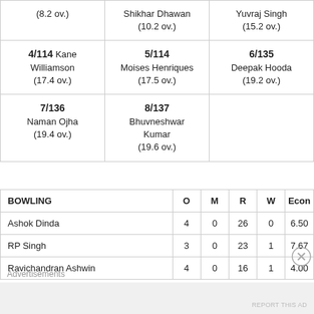|  |  |  |
| --- | --- | --- |
| (8.2 ov.) | Shikhar Dhawan
(10.2 ov.) | Yuvraj Singh
(15.2 ov.) |
| 4/114 Kane Williamson
(17.4 ov.) | 5/114
Moises Henriques
(17.5 ov.) | 6/135
Deepak Hooda
(19.2 ov.) |
| 7/136
Naman Ojha
(19.4 ov.) | 8/137
Bhuvneshwar Kumar
(19.6 ov.) |  |
| BOWLING | O | M | R | W | Econ |
| --- | --- | --- | --- | --- | --- |
| Ashok Dinda | 4 | 0 | 26 | 0 | 6.50 |
| RP Singh | 3 | 0 | 23 | 1 | 7.67 |
| Ravichandran Ashwin | 4 | 0 | 16 | 1 | 4.00 |
Advertisements